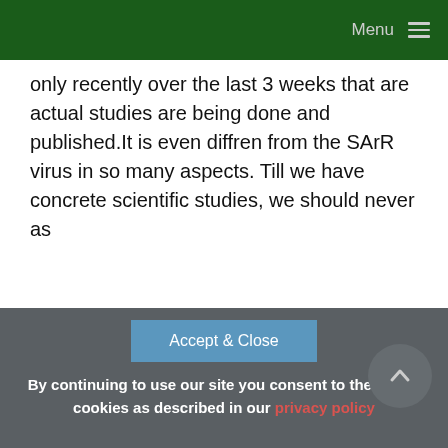Menu
only recently over the last 3 weeks that are actual studies are being done and published.It is even diffren from the SArR virus in so many aspects. Till we have concrete scientific studies, we should never as
Accept & Close
By continuing to use our site you consent to the use of cookies as described in our privacy policy